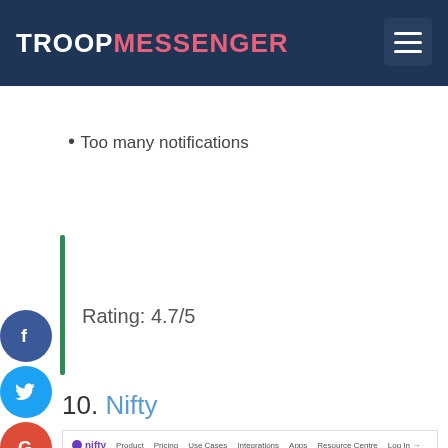TROOP MESSENGER
Too many notifications
Rating: 4.7/5
10. Nifty
[Figure (screenshot): Screenshot of the Nifty website homepage showing navigation bar with logo and menu items (Product, Pricing, Use Cases, Integrations, Apps, Resource Centre, Log In), a hero section with light blue background, an orange badge, and headline text 'Tired of using multiple tools to manage your work?' with a product screenshot on the right side.]